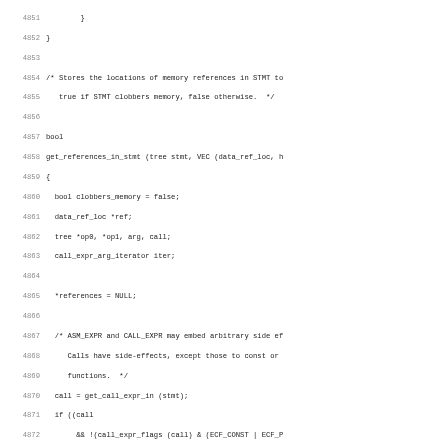Source code listing lines 4851-4882 showing C function get_references_in_stmt with variable declarations, comment blocks, and conditional logic for memory reference handling.